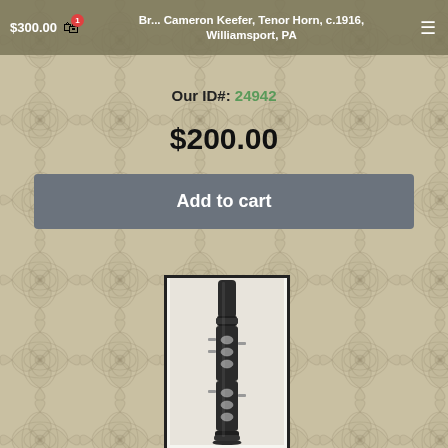$300.00  Br... Cameron Keefer, Tenor Horn, c.1916, Williamsport, PA
Our ID#: 24942
$200.00
Add to cart
[Figure (photo): A dark wood-body clarinet or similar woodwind instrument photographed vertically against a light background, showing keys and keywork along its length.]